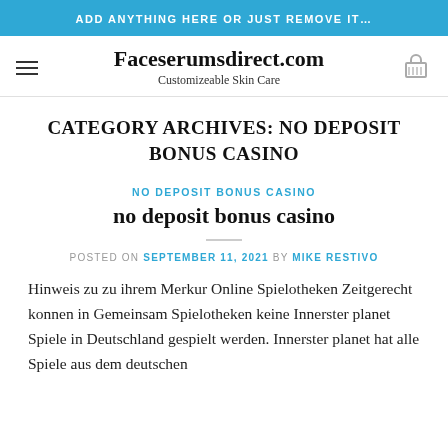ADD ANYTHING HERE OR JUST REMOVE IT…
Faceserumsdirect.com — Customizeable Skin Care
CATEGORY ARCHIVES: NO DEPOSIT BONUS CASINO
NO DEPOSIT BONUS CASINO
no deposit bonus casino
POSTED ON SEPTEMBER 11, 2021 BY MIKE RESTIVO
Hinweis zu zu ihrem Merkur Online Spielotheken Zeitgerecht konnen in Gemeinsam Spielotheken keine Innerster planet Spiele in Deutschland gespielt werden. Innerster planet hat alle Spiele aus dem deutschen